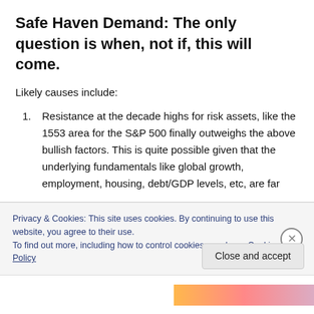Safe Haven Demand: The only question is when, not if, this will come.
Likely causes include:
Resistance at the decade highs for risk assets, like the 1553 area for the S&P 500 finally outweighs the above bullish factors. This is quite possible given that the underlying fundamentals like global growth, employment, housing, debt/GDP levels, etc, are far
Privacy & Cookies: This site uses cookies. By continuing to use this website, you agree to their use.
To find out more, including how to control cookies, see here: Cookie Policy